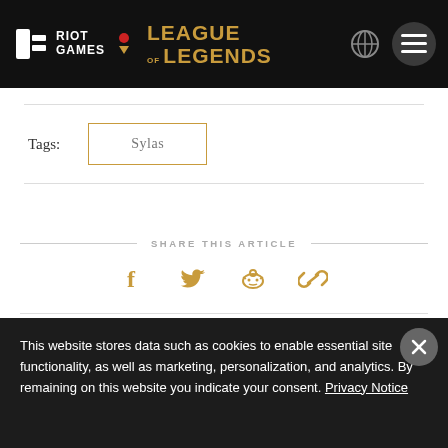RIOT GAMES | LEAGUE OF LEGENDS
Tags: Sylas
SHARE THIS ARTICLE
This website stores data such as cookies to enable essential site functionality, as well as marketing, personalization, and analytics. By remaining on this website you indicate your consent. Privacy Notice